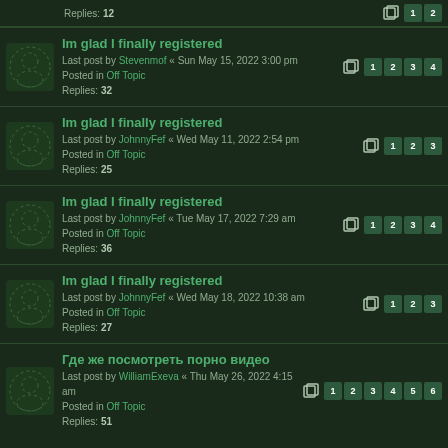Replies: 12 | pages: 1, 2
Im glad I finally registered | Last post by Stevenmof « Sun May 15, 2022 3:00 pm | Posted in Off Topic | Replies: 32 | pages: 1, 2, 3, 4
Im glad I finally registered | Last post by JohnnyFef « Wed May 11, 2022 2:54 pm | Posted in Off Topic | Replies: 25 | pages: 1, 2, 3
Im glad I finally registered | Last post by JohnnyFef « Tue May 17, 2022 7:29 am | Posted in Off Topic | Replies: 36 | pages: 1, 2, 3, 4
Im glad I finally registered | Last post by JohnnyFef « Wed May 18, 2022 10:38 am | Posted in Off Topic | Replies: 27 | pages: 1, 2, 3
Где же посмотреть порно видео | Last post by WilliamExeva « Thu May 26, 2022 4:15 am | Posted in Off Topic | Replies: 51 | pages: 1, 2, 3, 4, 5, 6